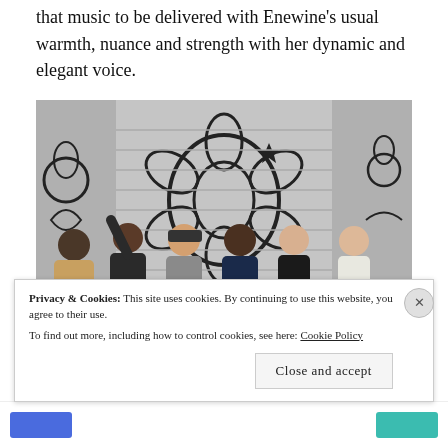that music to be delivered with Enewine's usual warmth, nuance and strength with her dynamic and elegant voice.
[Figure (photo): Six people posing in front of a metal roll-up door covered in black graffiti art. The group is diverse in appearance; one person wears a tan jacket, another a dark jacket, one has a hat, and they are making various hand gestures. The background shows a white brick wall also covered in graffiti.]
Privacy & Cookies: This site uses cookies. By continuing to use this website, you agree to their use. To find out more, including how to control cookies, see here: Cookie Policy
Close and accept